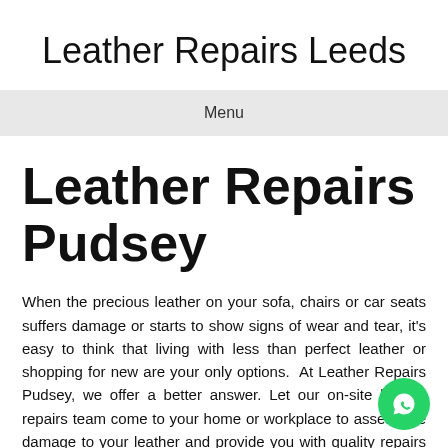Leather Repairs Leeds
Menu
Leather Repairs Pudsey
When the precious leather on your sofa, chairs or car seats suffers damage or starts to show signs of wear and tear, it's easy to think that living with less than perfect leather or shopping for new are your only options.  At Leather Repairs Pudsey, we offer a better answer. Let our on-site leather repairs team come to your home or workplace to assess the damage to your leather and provide you with quality repairs on the spot. We use only tested